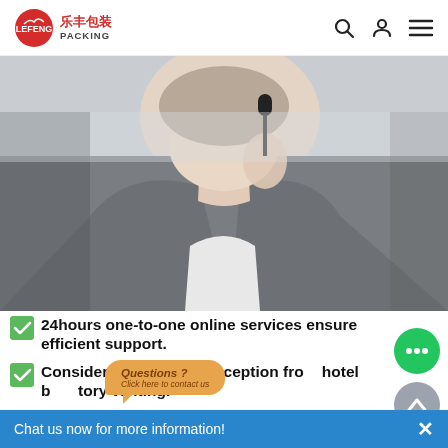乐丰包装 LEFENG PACKING — navigation header with search, user, and menu icons
[Figure (photo): Close-up photo of a customer service representative wearing a headset/microphone, dressed in a gray blazer, holding the mic near their mouth against a light background.]
24hours one-to-one online services ensure efficient support.
Considerate customer reception from hotel b[...] factory visiting.
Excellent care from order confirmation to pro[...]
Questions? Click here to contact us
Chat us now for more information!